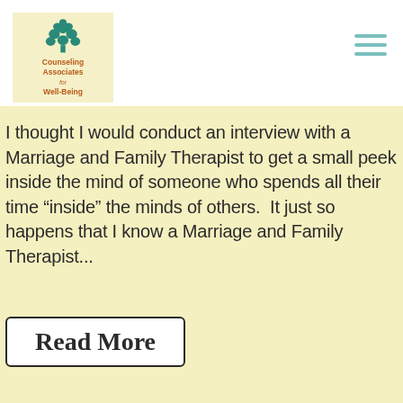[Figure (logo): Counseling Associates for Well-Being logo with teal tree graphic on yellow background and brown text]
[Figure (other): Hamburger menu icon (three horizontal teal lines) in top right corner]
I thought I would conduct an interview with a Marriage and Family Therapist to get a small peek inside the mind of someone who spends all their time “inside” the minds of others.  It just so happens that I know a Marriage and Family Therapist...
Read More